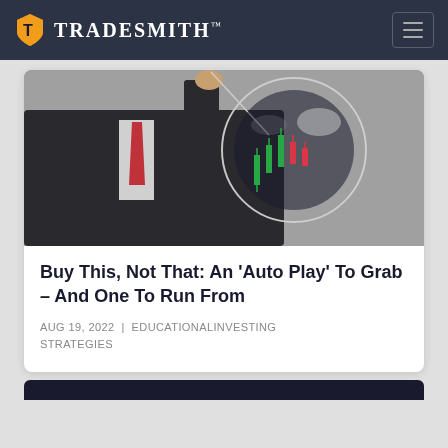TradeSmith™
[Figure (photo): A person in a business suit holding a needle near a large transparent bubble that contains a stock market candlestick chart inside it]
Buy This, Not That: An 'Auto Play' To Grab – And One To Run From
AUG 19, 2022 | EDUCATIONALINVESTING STRATEGIES
[Figure (photo): Partial bottom card visible, dark colored]